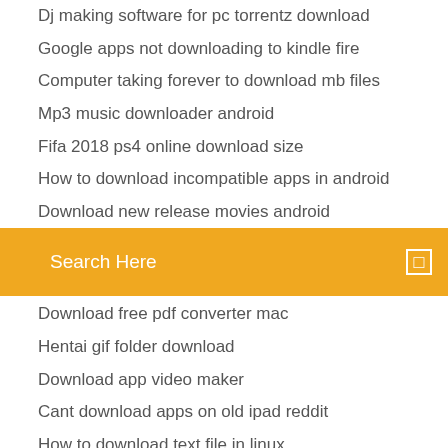Dj making software for pc torrentz download
Google apps not downloading to kindle fire
Computer taking forever to download mb files
Mp3 music downloader android
Fifa 2018 ps4 online download size
How to download incompatible apps in android
Download new release movies android
[Figure (screenshot): Orange search bar with 'Search Here' placeholder text and a small square icon on the right]
Download free pdf converter mac
Hentai gif folder download
Download app video maker
Cant download apps on old ipad reddit
How to download text file in linux
Download older version of photoshop free
Brooklyn movie download torrents
Dmx party up rated version download
Chess titans windows 8 free download full version
Play store apps listed by number of downloads